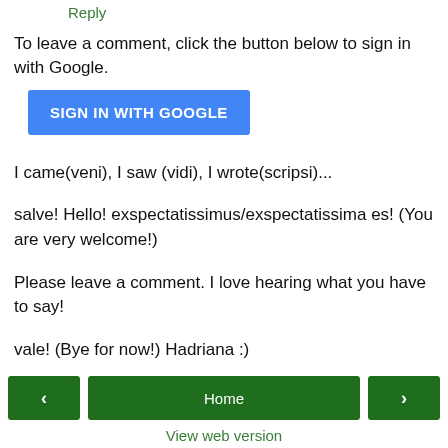Reply
To leave a comment, click the button below to sign in with Google.
[Figure (other): Blue 'SIGN IN WITH GOOGLE' button]
I came(veni), I saw (vidi), I wrote(scripsi)...
salve! Hello! exspectatissimus/exspectatissima es! (You are very welcome!)
Please leave a comment. I love hearing what you have to say!
vale! (Bye for now!) Hadriana :)
< Home > View web version